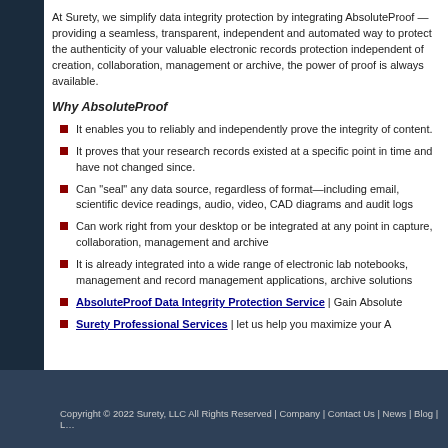At Surety, we simplify data integrity protection by integrating AbsoluteProof — providing a seamless, transparent, independent and automated way to protect the authenticity of your valuable electronic records protection independent of creation, collaboration, management or archive, the power of proof is always available.
Why AbsoluteProof
It enables you to reliably and independently prove the integrity of content.
It proves that your research records existed at a specific point in time and have not changed since.
Can "seal" any data source, regardless of format—including email, scientific device readings, audio, video, CAD diagrams and audit logs
Can work right from your desktop or be integrated at any point in capture, collaboration, management and archive
It is already integrated into a wide range of electronic lab notebooks, management and record management applications, archive solutions
AbsoluteProof Data Integrity Protection Service | Gain Absolute
Surety Professional Services | let us help you maximize your A
Copyright © 2022 Surety, LLC All Rights Reserved | Company | Contact Us | News | Blog | L…